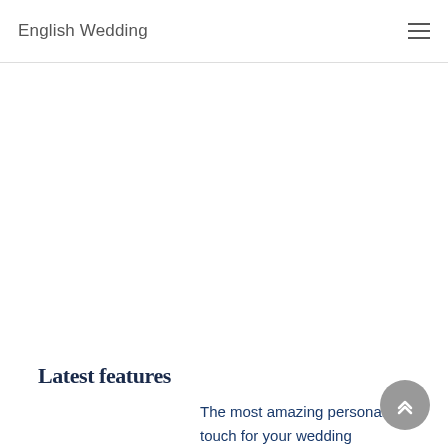English Wedding
Latest features
The most amazing personal touch for your wedding